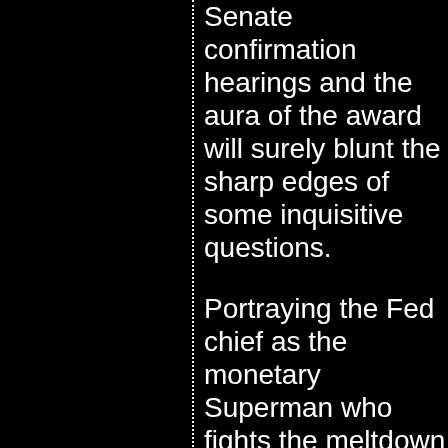Senate confirmation hearings and the aura of the award will surely blunt the sharp edges of some inquisitive questions.

Portraying the Fed chief as the monetary Superman who fights the meltdown monster with the collected works of John Maynard Keynes in one hand and an industry strength moneyblower in the other is impressive on